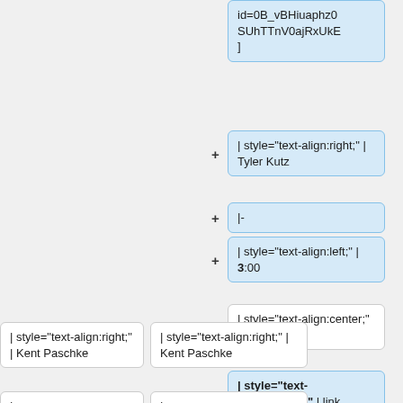id=0B_vBHiuaphz0SUhTTnV0ajRxUkE]
| style="text-align:right;" | Tyler Kutz
|-
| style="text-align:left;" | 3:00
| style="text-align:center;" | Summary
| style="text-align:center;" | link
| style="text-align:right;" | Kent Paschke
| style="text-align:right;" | Kent Paschke
|-
|-
|}
|}